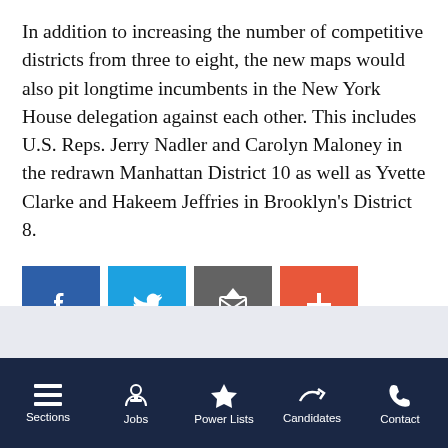In addition to increasing the number of competitive districts from three to eight, the new maps would also pit longtime incumbents in the New York House delegation against each other. This includes U.S. Reps. Jerry Nadler and Carolyn Maloney in the redrawn Manhattan District 10 as well as Yvette Clarke and Hakeem Jeffries in Brooklyn's District 8.
[Figure (infographic): Social sharing buttons: Facebook (blue), Twitter (light blue), Email (gray), More/Plus (orange-red)]
Sections | Jobs | Power Lists | Candidates | Contact